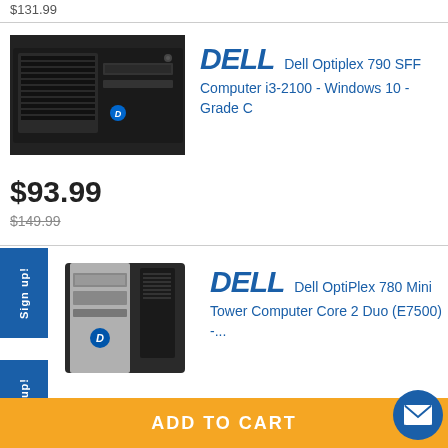$131.99
[Figure (photo): Dell Optiplex 790 SFF desktop computer - small form factor black PC]
DELL Dell Optiplex 790 SFF Computer i3-2100 - Windows 10 - Grade C
$93.99
$149.99
[Figure (photo): Dell OptiPlex 780 Mini Tower Computer - black/silver tower PC]
DELL Dell OptiPlex 780 Mini Tower Computer Core 2 Duo (E7500) -...
43.99
ADD TO CART